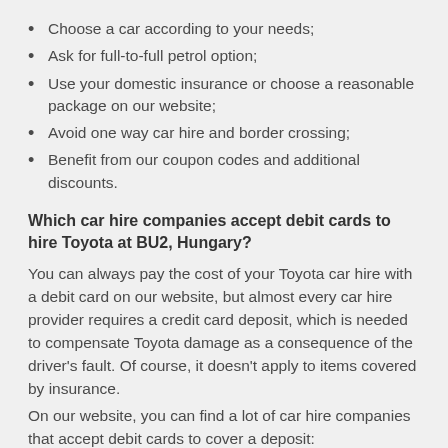Choose a car according to your needs;
Ask for full-to-full petrol option;
Use your domestic insurance or choose a reasonable package on our website;
Avoid one way car hire and border crossing;
Benefit from our coupon codes and additional discounts.
Which car hire companies accept debit cards to hire Toyota at BU2, Hungary?
You can always pay the cost of your Toyota car hire with a debit card on our website, but almost every car hire provider requires a credit card deposit, which is needed to compensate Toyota damage as a consequence of the driver's fault. Of course, it doesn't apply to items covered by insurance.
On our website, you can find a lot of car hire companies that accept debit cards to cover a deposit:
Alamo
Avis
Budget